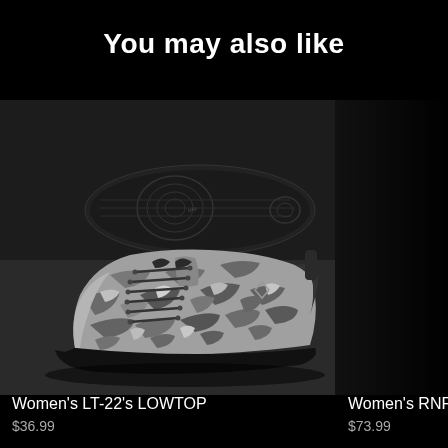You may also like
[Figure (photo): Two camo-patterned low-top sneakers (Women's LT-22's LOWTOP) displayed on a dark background — one showing the sole and one showing the side profile]
Women's LT-22's LOWTOP
Women's RNRs
$36.99 (partially visible)
$73.99 (partially visible)